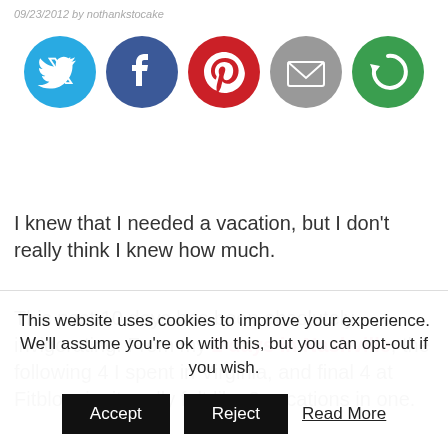09/23/2012 by nothankstocake
[Figure (infographic): Five circular social share icons: Twitter (blue), Facebook (dark blue), Pinterest (red), Email (grey), and a green circular arrow/refresh icon]
I knew that I needed a vacation, but I don't really think I knew how much.
This past 10 days has been absolutely invigorating. From my 2 days in Nashville, the following 4 I spent in Virginia, and final 4 at Fitbloggin, it really felt like 3 vacations in one.
AND… I GOT TO SPEND TEN DAYS FOCUSING ON
This website uses cookies to improve your experience. We'll assume you're ok with this, but you can opt-out if you wish.